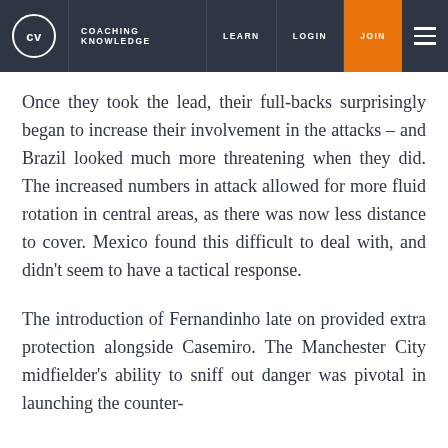CV | COACHING KNOWLEDGE | LEARN | LOGIN | JOIN
Once they took the lead, their full-backs surprisingly began to increase their involvement in the attacks – and Brazil looked much more threatening when they did. The increased numbers in attack allowed for more fluid rotation in central areas, as there was now less distance to cover. Mexico found this difficult to deal with, and didn't seem to have a tactical response.
The introduction of Fernandinho late on provided extra protection alongside Casemiro. The Manchester City midfielder's ability to sniff out danger was pivotal in launching the counter-